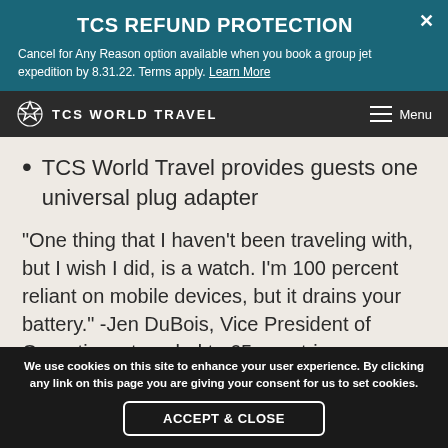TCS REFUND PROTECTION
Cancel for Any Reason option available when you book a group jet expedition by 8.31.22. Terms apply. Learn More
TCS WORLD TRAVEL  Menu
TCS World Travel provides guests one universal plug adapter
"One thing that I haven't been traveling with, but I wish I did, is a watch. I'm 100 percent reliant on mobile devices, but it drains your battery." -Jen DuBois, Vice President of Operations, traveled to 65 countries
We use cookies on this site to enhance your user experience. By clicking any link on this page you are giving your consent for us to set cookies. ACCEPT & CLOSE